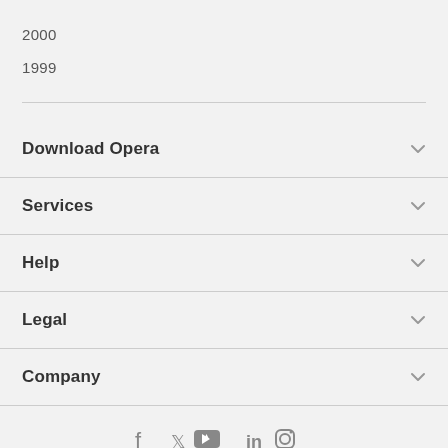2000
1999
Download Opera
Services
Help
Legal
Company
[Figure (infographic): Social media icons: Facebook, Twitter, YouTube, LinkedIn, Instagram]